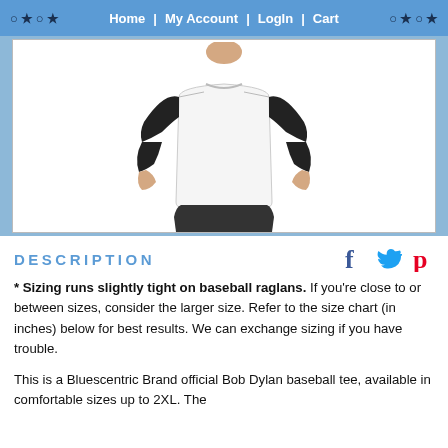○ ★ ○ ★   Home  |  My Account  |  Login  |  Cart  ○ ★ ○ ★
[Figure (photo): Person wearing a black and white baseball raglan t-shirt with 3/4 length black sleeves and white body, shown from shoulders to hips against a white background]
DESCRIPTION
* Sizing runs slightly tight on baseball raglans. If you're close to or between sizes, consider the larger size. Refer to the size chart (in inches) below for best results. We can exchange sizing if you have trouble.
This is a Bluescentric Brand official Bob Dylan baseball tee, available in comfortable sizes up to 2XL. The